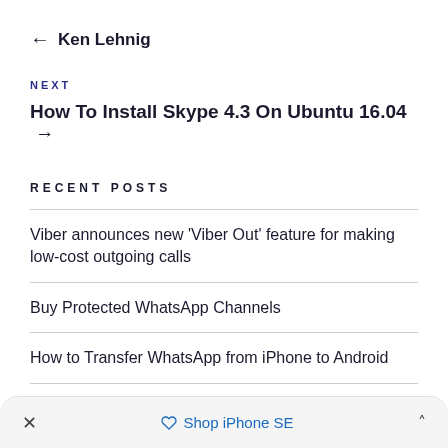← Ken Lehnig
NEXT
How To Install Skype 4.3 On Ubuntu 16.04 →
RECENT POSTS
Viber announces new 'Viber Out' feature for making low-cost outgoing calls
Buy Protected WhatsApp Channels
How to Transfer WhatsApp from iPhone to Android
Now You Can Delete Your Sent Messages From
× Shop iPhone SE ^